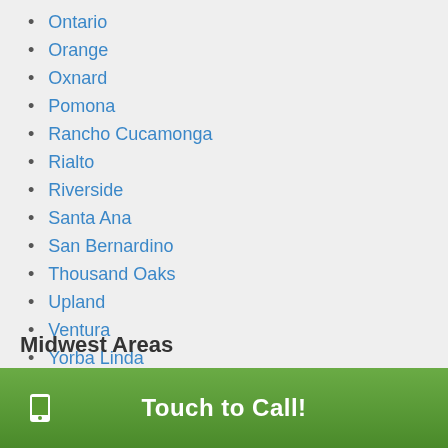Ontario
Orange
Oxnard
Pomona
Rancho Cucamonga
Rialto
Riverside
Santa Ana
San Bernardino
Thousand Oaks
Upland
Ventura
Yorba Linda
Inland Empire
Orange County
Midwest Areas
Touch to Call!